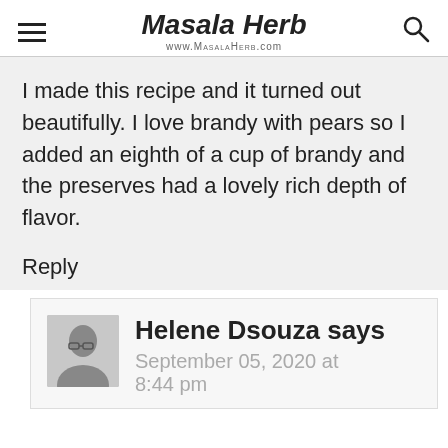Masala Herb — www.MasalaHerb.com
I made this recipe and it turned out beautifully. I love brandy with pears so I added an eighth of a cup of brandy and the preserves had a lovely rich depth of flavor.
Reply
Helene Dsouza says
September 05, 2020 at 8:44 pm